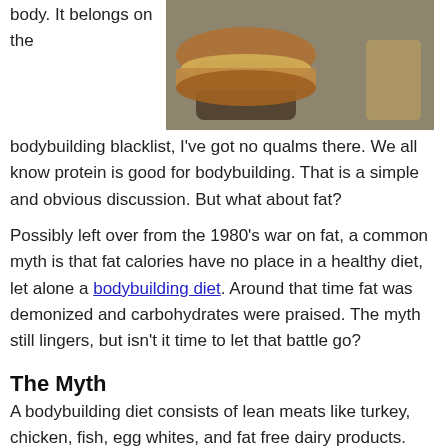body. It belongs on the
[Figure (photo): Close-up photo of person holding a large burger]
bodybuilding blacklist, I've got no qualms there. We all know protein is good for bodybuilding. That is a simple and obvious discussion. But what about fat?
Possibly left over from the 1980's war on fat, a common myth is that fat calories have no place in a healthy diet, let alone a bodybuilding diet. Around that time fat was demonized and carbohydrates were praised. The myth still lingers, but isn't it time to let that battle go?
The Myth
A bodybuilding diet consists of lean meats like turkey, chicken, fish, egg whites, and fat free dairy products. Bodybuilding newbies learn this practice almost immediately. We must keep calories low, so we must keep